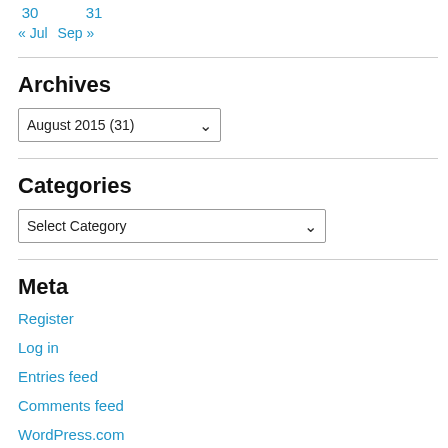30    31
« Jul   Sep »
Archives
August 2015  (31)
Categories
Select Category
Meta
Register
Log in
Entries feed
Comments feed
WordPress.com